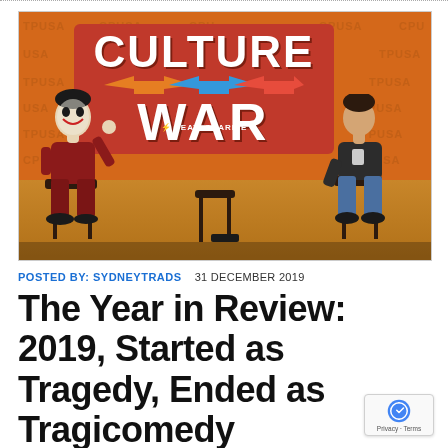[Figure (photo): Two people seated on bar stools on a stage with an orange TPUSA (Turning Point USA) background. A person dressed as the Joker (in a red/purple suit) sits on the left gesturing, and a man in a dark blazer sits on the right. A large red sign reads 'CULTURE WAR FEAT. CHARLIE' in the background.]
POSTED BY: SYDNEYTRADS   31 DECEMBER 2019
The Year in Review: 2019, Started as Tragedy, Ended as Tragicomedy